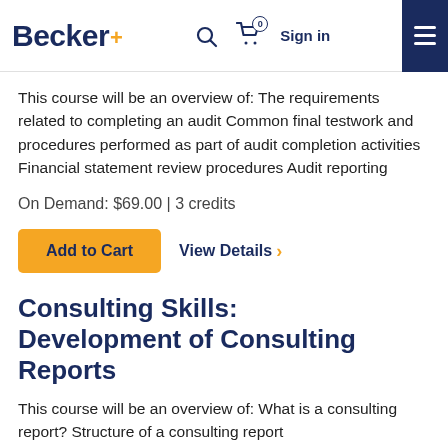Becker+ [search] [cart 0] Sign in [menu]
This course will be an overview of: The requirements related to completing an audit Common final testwork and procedures performed as part of audit completion activities Financial statement review procedures Audit reporting
On Demand: $69.00 | 3 credits
Add to Cart   View Details >
Consulting Skills: Development of Consulting Reports
This course will be an overview of: What is a consulting report? Structure of a consulting report